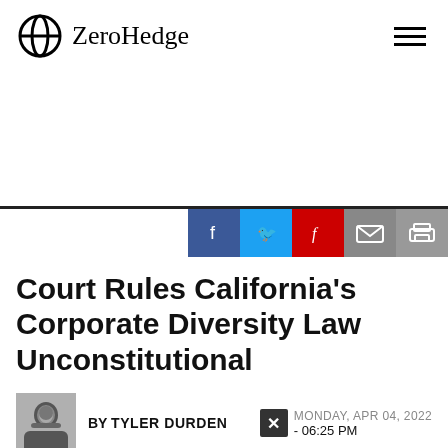ZeroHedge
[Figure (logo): ZeroHedge logo with circular icon and site name]
Court Rules California's Corporate Diversity Law Unconstitutional
BY TYLER DURDEN
MONDAY, APR 04, 2022 - 06:25 PM
Author